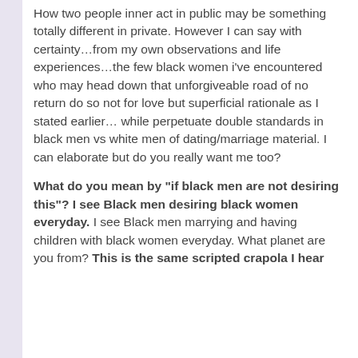How two people inner act in public may be something totally different in private. However I can say with certainty...from my own observations and life experiences...the few black women i've encountered who may head down that unforgiveable road of no return do so not for love but superficial rationale as I stated earlier... while perpetuate double standards in black men vs white men of dating/marriage material. I can elaborate but do you really want me too?
What do you mean by "if black men are not desiring this"? I see Black men desiring black women everyday. I see Black men marrying and having children with black women everyday. What planet are you from? This is the same scripted crapola I hear